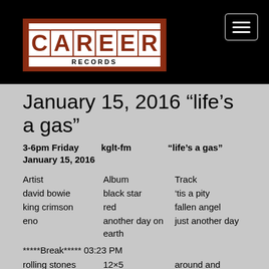[Figure (logo): Career Records logo — dark red/maroon bordered box with white letter tiles spelling CAREER and RECORDS below]
January 15, 2016 “life’s a gas”
3-6pm Friday January 15, 2016 | kglt-fm | “life’s a gas”
| Artist | Album | Track |
| --- | --- | --- |
| david bowie | black star | 'tis a pity |
| king crimson | red | fallen angel |
| eno | another day on earth | just another day |
| *****Break***** 03:23 PM |  |  |
| rolling stones | 12×5 | around and around |
| pretty things | greatest hits 64-67 | mama keep your big mouth shut |